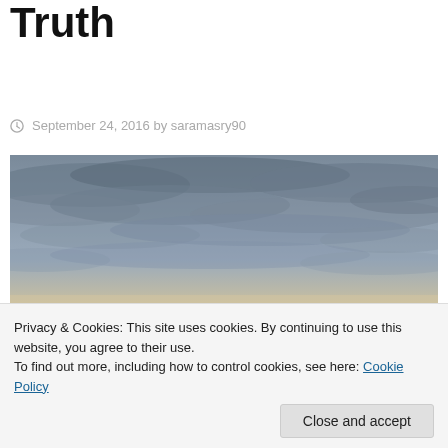Truth
September 24, 2016 by saramasry90
[Figure (photo): Cloudy sky at dusk with warm horizon tones]
Privacy & Cookies: This site uses cookies. By continuing to use this website, you agree to their use.
To find out more, including how to control cookies, see here: Cookie Policy